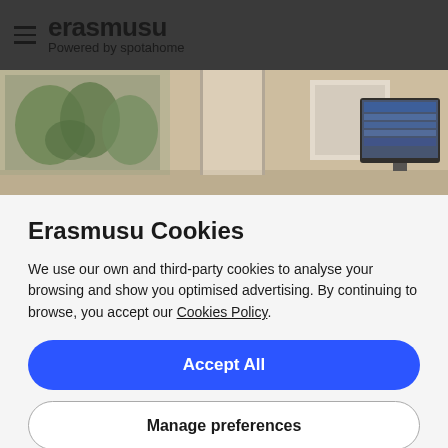erasmusu — Powered by spotahome
[Figure (photo): Interior room photo showing a living space with plants, wall art, and a TV mounted on the wall]
Erasmusu Cookies
We use our own and third-party cookies to analyse your browsing and show you optimised advertising. By continuing to browse, you accept our Cookies Policy.
Accept All
Manage preferences